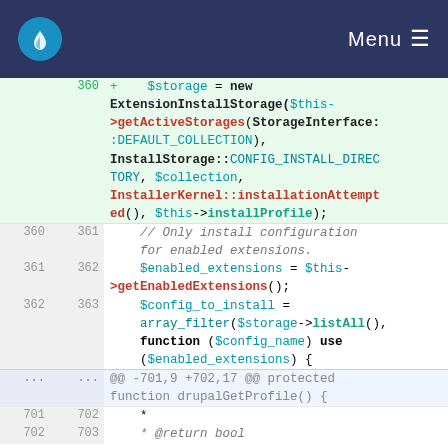Menu
[Figure (screenshot): Code diff viewer showing PHP code for ExtensionInstallStorage and related functions. Lines 360-363 and 701-703 are visible with line number columns and syntax highlighting.]